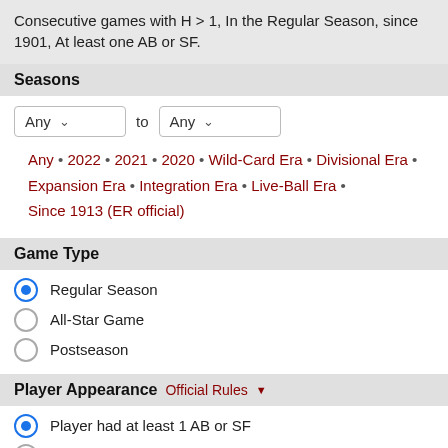Consecutive games with H > 1, In the Regular Season, since 1901, At least one AB or SF.
Seasons
Any to Any (dropdowns)
Any • 2022 • 2021 • 2020 • Wild-Card Era • Divisional Era • Expansion Era • Integration Era • Live-Ball Era • Since 1913 (ER official)
Game Type
Regular Season (selected)
All-Star Game
Postseason
Player Appearance Official Rules
Player had at least 1 AB or SF (selected)
Player had at least 1 PA
Player appeared in game (may or may not have batted
Streak Start or End